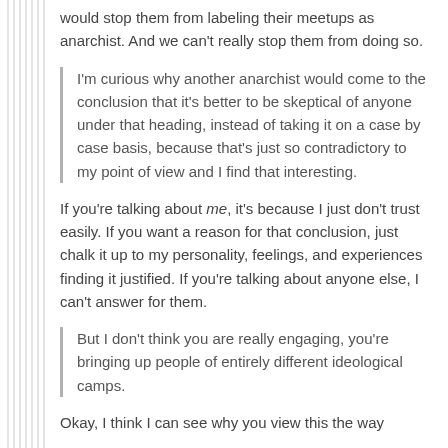would stop them from labeling their meetups as anarchist. And we can't really stop them from doing so.
I'm curious why another anarchist would come to the conclusion that it's better to be skeptical of anyone under that heading, instead of taking it on a case by case basis, because that's just so contradictory to my point of view and I find that interesting.
If you're talking about me, it's because I just don't trust easily. If you want a reason for that conclusion, just chalk it up to my personality, feelings, and experiences finding it justified. If you're talking about anyone else, I can't answer for them.
But I don't think you are really engaging, you're bringing up people of entirely different ideological camps.
Okay, I think I can see why you view this the way